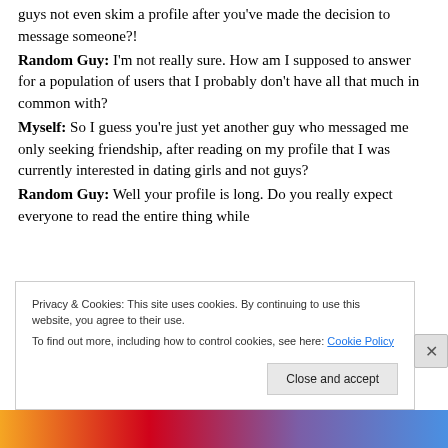guys not even skim a profile after you've made the decision to message someone?!
Random Guy: I'm not really sure. How am I supposed to answer for a population of users that I probably don't have all that much in common with?
Myself: So I guess you're just yet another guy who messaged me only seeking friendship, after reading on my profile that I was currently interested in dating girls and not guys?
Random Guy: Well your profile is long. Do you really expect everyone to read the entire thing while
Privacy & Cookies: This site uses cookies. By continuing to use this website, you agree to their use. To find out more, including how to control cookies, see here: Cookie Policy
Close and accept